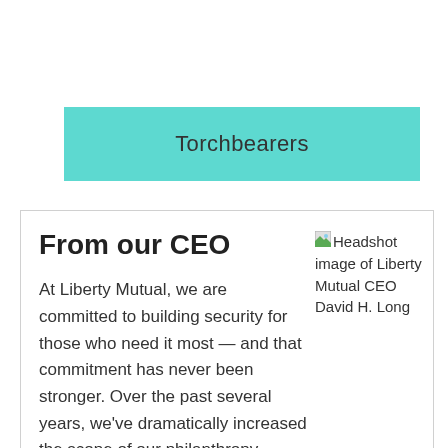Torchbearers
From our CEO
At Liberty Mutual, we are committed to building security for those who need it most — and that commitment has never been stronger. Over the past several years, we've dramatically increased the scope of our philanthropy, using our resources to expand the impact our community partners can have on people's lives.
[Figure (photo): Headshot image of Liberty Mutual CEO David H. Long]